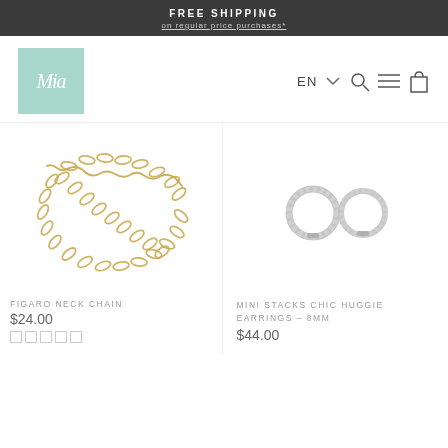FREE SHIPPING
on regular price purchases*
[Figure (logo): Mia jewelry brand logo — mint green square with italic cursive 'Mia' text in white]
EN
[Figure (photo): Figaro gold neck chain on white background]
[Figure (photo): Mini Stacks Chic Huggie Earrings 8mm — two silver hoop earrings on white background]
FIGARO NECK CHAIN
$24.00
MINI STACKS CHIC HUGGIE EARRINGS – 8MM
$44.00